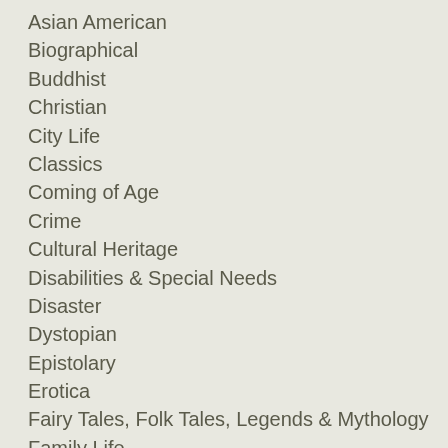Asian American
Biographical
Buddhist
Christian
City Life
Classics
Coming of Age
Crime
Cultural Heritage
Disabilities & Special Needs
Disaster
Dystopian
Epistolary
Erotica
Fairy Tales, Folk Tales, Legends & Mythology
Family Life
Fantasy
Feminist
Friendship